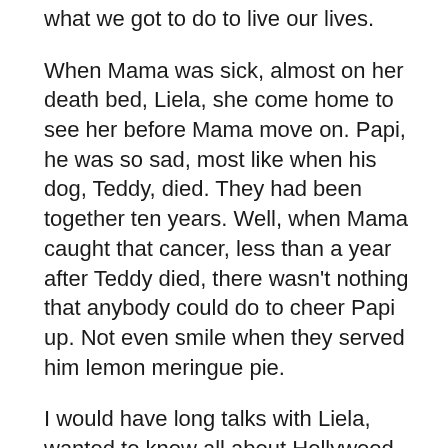what we got to do to live our lives.
When Mama was sick, almost on her death bed, Liela, she come home to see her before Mama move on. Papi, he was so sad, most like when his dog, Teddy, died. They had been together ten years. Well, when Mama caught that cancer, less than a year after Teddy died, there wasn't nothing that anybody could do to cheer Papi up. Not even smile when they served him lemon meringue pie.
I would have long talks with Liela, wanted to know all about Hollywood and being in movies, and everything. I would be telling her about who was who. I believe at one time we count up to forty-some cousins. I ask her how come she ain't never had no children. She got real quiet. Most time she talk about anything. About everything. Even much told me about different men she been